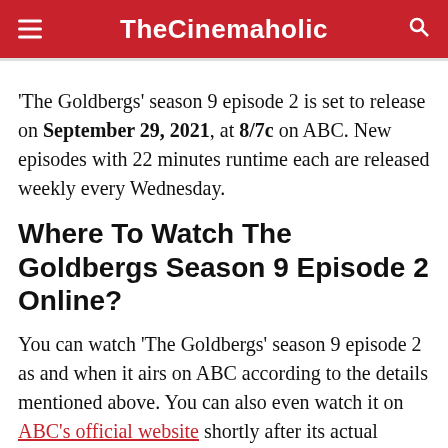TheCinemaholic
'The Goldbergs' season 9 episode 2 is set to release on September 29, 2021, at 8/7c on ABC. New episodes with 22 minutes runtime each are released weekly every Wednesday.
Where To Watch The Goldbergs Season 9 Episode 2 Online?
You can watch 'The Goldbergs' season 9 episode 2 as and when it airs on ABC according to the details mentioned above. You can also even watch it on ABC's official website shortly after its actual release. Following it on a subscription-based device is the...